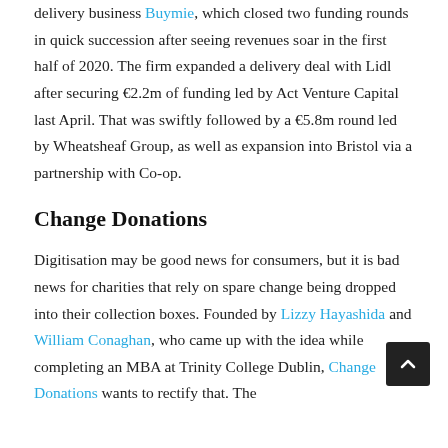delivery business Buymie, which closed two funding rounds in quick succession after seeing revenues soar in the first half of 2020. The firm expanded a delivery deal with Lidl after securing €2.2m of funding led by Act Venture Capital last April. That was swiftly followed by a €5.8m round led by Wheatsheaf Group, as well as expansion into Bristol via a partnership with Co-op.
Change Donations
Digitisation may be good news for consumers, but it is bad news for charities that rely on spare change being dropped into their collection boxes. Founded by Lizzy Hayashida and William Conaghan, who came up with the idea while completing an MBA at Trinity College Dublin, Change Donations wants to rectify that. The